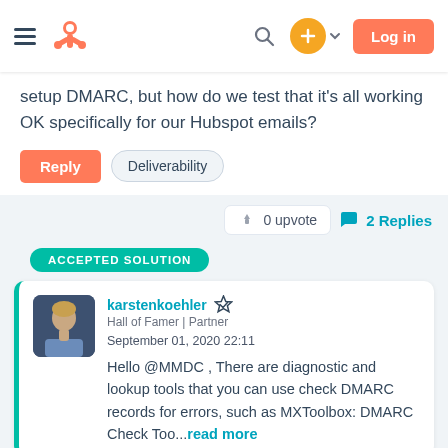[Figure (screenshot): HubSpot community forum page screenshot showing navigation bar with hamburger menu, HubSpot logo, search icon, plus button, and Log in button.]
setup DMARC, but how do we test that it's all working OK specifically for our Hubspot emails?
Reply   Deliverability
0 upvote   2 Replies
ACCEPTED SOLUTION
karstenkoehler
Hall of Famer | Partner
September 01, 2020 22:11
Hello @MMDC , There are diagnostic and lookup tools that you can use check DMARC records for errors, such as MXToolbox: DMARC Check Too...read more